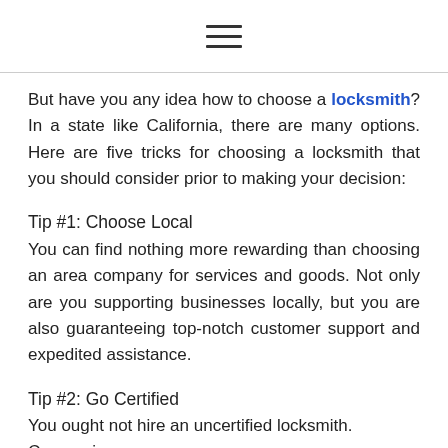≡
But have you any idea how to choose a locksmith? In a state like California, there are many options. Here are five tricks for choosing a locksmith that you should consider prior to making your decision:
Tip #1: Choose Local
You can find nothing more rewarding than choosing an area company for services and goods. Not only are you supporting businesses locally, but you are also guaranteeing top-notch customer support and expedited assistance.
Tip #2: Go Certified
You ought not hire an uncertified locksmith. Companies